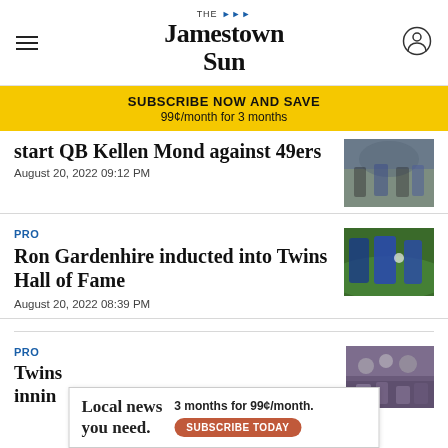The Jamestown Sun
SUBSCRIBE NOW AND SAVE
99¢/month for 3 months
start QB Kellen Mond against 49ers
August 20, 2022 09:12 PM
[Figure (photo): Football game action photo]
PRO
Ron Gardenhire inducted into Twins Hall of Fame
August 20, 2022 08:39 PM
[Figure (photo): Ron Gardenhire in Twins uniform on baseball field]
PRO
Twins [partial]
[Figure (photo): Crowd at baseball game]
Local news you need.  3 months for 99¢/month.  SUBSCRIBE TODAY